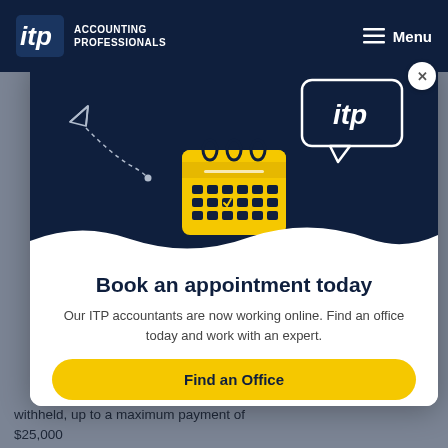itp ACCOUNTING PROFESSIONALS   Menu
[Figure (illustration): ITP appointment booking modal with a calendar icon with checkmark, paper airplane, and ITP speech bubble on dark navy background with wave transition to white]
Book an appointment today
Our ITP accountants are now working online. Find an office today and work with an expert.
Find an Office
withheld, up to a maximum payment of $25,000